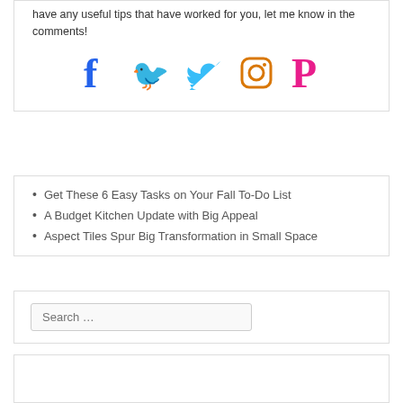have any useful tips that have worked for you, let me know in the comments!
[Figure (illustration): Social media icons: Facebook (blue f), Twitter (light blue bird), Instagram (orange rounded square), Pinterest (pink P)]
Get These 6 Easy Tasks on Your Fall To-Do List
A Budget Kitchen Update with Big Appeal
Aspect Tiles Spur Big Transformation in Small Space
Search …
[Figure (other): Empty white box / advertisement placeholder]